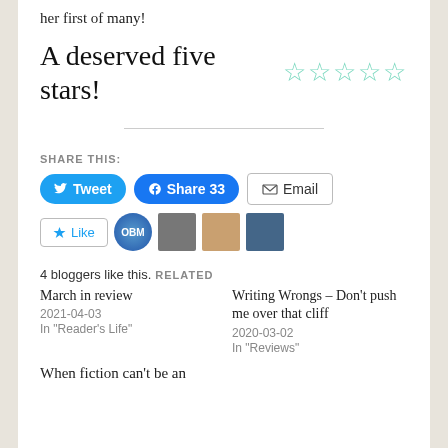her first of many!
A deserved five stars! ☆☆☆☆☆
SHARE THIS:
[Figure (other): Social sharing buttons: Tweet, Share 33, Email, Like, and 4 blogger avatars]
4 bloggers like this.
RELATED
March in review
2021-04-03
In "Reader's Life"
Writing Wrongs – Don't push me over that cliff
2020-03-02
In "Reviews"
When fiction can't be an